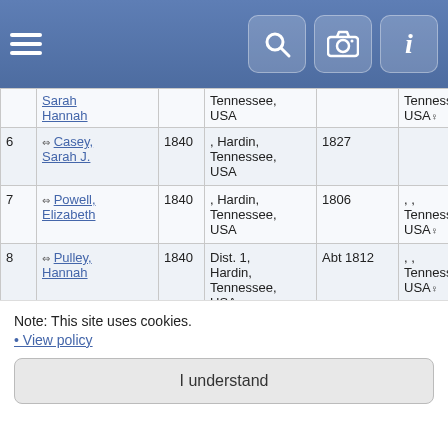Navigation bar with hamburger menu, search, camera, and info icons
| # | Name | Year | Location | Born | Birth Location | Other |
| --- | --- | --- | --- | --- | --- | --- |
|  | Sarah Hannah |  | Tennessee, USA |  | Tennessee, USA♀ |  |
| 6 | Casey, Sarah J. | 1840 | , Hardin, Tennessee, USA | 1827 |  | Yes, unkn |
| 7 | Powell, Elizabeth | 1840 | , Hardin, Tennessee, USA | 1806 | , , Tennessee, USA♀ | Aft 1 |
| 8 | Pulley, Hannah | 1840 | Dist. 1, Hardin, Tennessee, USA♀ | Abt 1812 | , , Tennessee, USA♀ | Yes, unkn |
| 9 | Reeves, Andrew (Drewry) | 1840 | Dist. 1, Hardin, Tennessee, USA♀ | Abt 1806 | , , Tennessee, USA♀ | Abt |
| 10 | Reeves... | 1840 | Dist. 1, | Abt 1834 | , , | Yes, |
Note: This site uses cookies.
• View policy
I understand